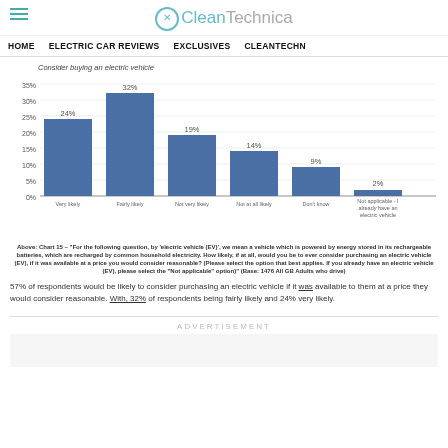CleanTechnica
HOME   ELECTRIC CAR REVIEWS   EXCLUSIVES   CLEANTECHN
[Figure (bar-chart): Consider buying an electric vehicle]
Above: Chart 15 – "For the following question, by 'electric vehicle (EV)', we mean a vehicle which is powered by energy stored in its rechargeable batteries, which are recharged by common household electricity. How likely, if at all, would you be to ever consider purchasing an electric vehicle (EV), if it was available at a price you would consider reasonable? (Please select the option that best applies. If you already have an electric vehicle (EV), please select the "Not applicable" option)" (Base: 1476 All GB Adults who drive)
57% of respondents would be likely to consider purchasing an electric vehicle if it was available to them at a price they would consider reasonable. With, 32% of respondents being fairly likely and 24% very likely.